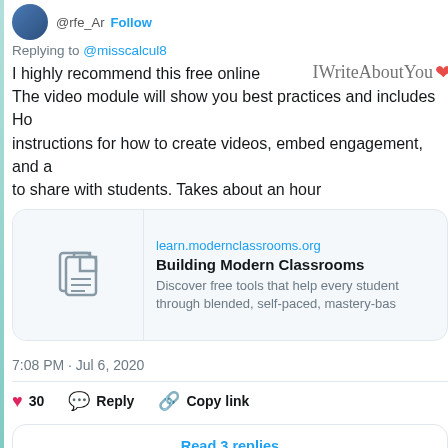Replying to @misscalcul8
I highly recommend this free online The video module will show you best practices and includes How instructions for how to create videos, embed engagement, and a to share with students. Takes about an hour
[Figure (screenshot): Link preview card for learn.modernclassrooms.org showing Building Modern Classrooms with a document icon]
learn.modernclassrooms.org
Building Modern Classrooms
Discover free tools that help every student through blended, self-paced, mastery-base
7:08 PM · Jul 6, 2020
30 Reply Copy link
Read 3 replies
Graphite Math